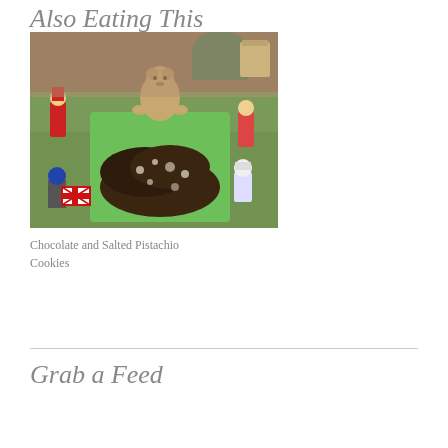Also Eating This
[Figure (photo): A box of chocolate crinkle cookies with powdered sugar, lined with green tissue paper, surrounded by decorative figurines including teddy bears and toy soldiers, with Union Jack flags visible on a patterned tablecloth.]
Chocolate and Salted Pistachio Cookies
Grab a Feed